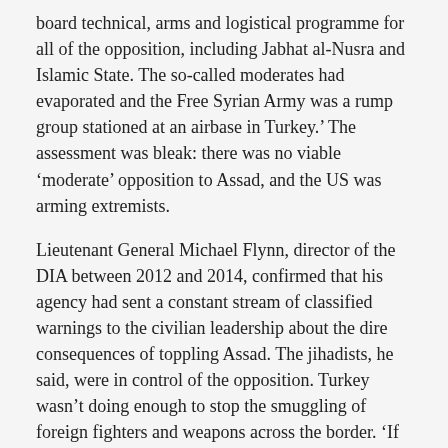board technical, arms and logistical programme for all of the opposition, including Jabhat al-Nusra and Islamic State. The so-called moderates had evaporated and the Free Syrian Army was a rump group stationed at an airbase in Turkey.' The assessment was bleak: there was no viable 'moderate' opposition to Assad, and the US was arming extremists.
Lieutenant General Michael Flynn, director of the DIA between 2012 and 2014, confirmed that his agency had sent a constant stream of classified warnings to the civilian leadership about the dire consequences of toppling Assad. The jihadists, he said, were in control of the opposition. Turkey wasn't doing enough to stop the smuggling of foreign fighters and weapons across the border. 'If the American public saw the intelligence we were producing daily, at the most sensitive level, they would go ballistic,' Flynn told me. 'We understood Isis's long-term strategy and its campaign plans, and we also discussed the fact that Turkey was looking the other way when it came to the growth of the Islamic State inside Syria.' The DIA's reporting, he said, 'got enormous pushback' from the Obama administration. 'I felt that they did not want to hear the truth.'
'Our policy of arming the opposition to Assad was